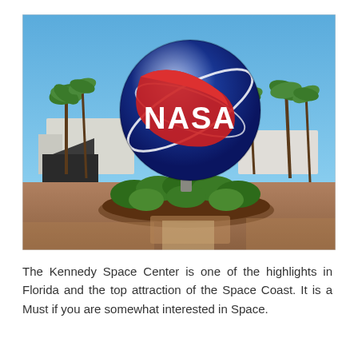[Figure (photo): Photograph of the NASA globe/meatball logo sign at Kennedy Space Center. The large blue spherical NASA logo is displayed prominently in the center with palm trees, buildings, and a clear blue sky in the background. Green shrubs surround the base of the globe on a circular elevated planter.]
The Kennedy Space Center is one of the highlights in Florida and the top attraction of the Space Coast. It is a Must if you are somewhat interested in Space.